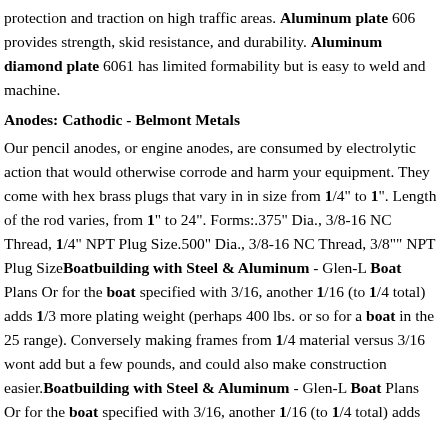protection and traction on high traffic areas. Aluminum plate 606 provides strength, skid resistance, and durability. Aluminum diamond plate 6061 has limited formability but is easy to weld and machine.
Anodes: Cathodic - Belmont Metals
Our pencil anodes, or engine anodes, are consumed by electrolytic action that would otherwise corrode and harm your equipment. They come with hex brass plugs that vary in in size from 1/4" to 1". Length of the rod varies, from 1" to 24". Forms:.375" Dia., 3/8-16 NC Thread, 1/4" NPT Plug Size.500" Dia., 3/8-16 NC Thread, 3/8"" NPT Plug SizeBoatbuilding with Steel & Aluminum - Glen-L Boat Plans Or for the boat specified with 3/16, another 1/16 (to 1/4 total) adds 1/3 more plating weight (perhaps 400 lbs. or so for a boat in the 25 range). Conversely making frames from 1/4 material versus 3/16 wont add but a few pounds, and could also make construction easier.Boatbuilding with Steel & Aluminum - Glen-L Boat Plans Or for the boat specified with 3/16, another 1/16 (to 1/4 total) adds